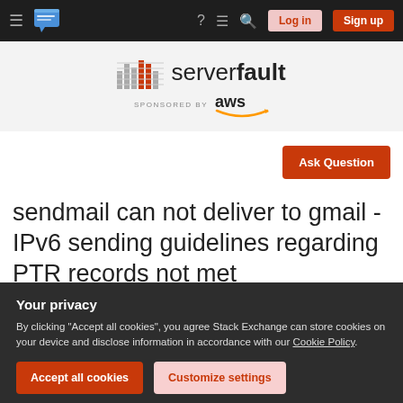Server Fault navigation bar with hamburger menu, chat icon, help, search icons, Log in and Sign up buttons
[Figure (logo): Server Fault logo with bar-chart icon and 'serverfault' text, sponsored by AWS]
Ask Question
sendmail can not deliver to gmail - IPv6 sending guidelines regarding PTR records not met
Your privacy
By clicking "Accept all cookies", you agree Stack Exchange can store cookies on your device and disclose information in accordance with our Cookie Policy.
Accept all cookies
Customize settings
must be wrong.